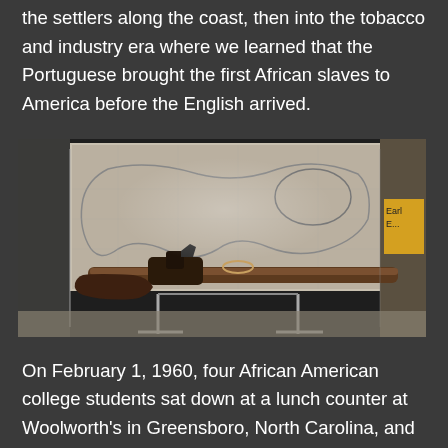the settlers along the coast, then into the tobacco and industry era where we learned that the Portuguese brought the first African slaves to America before the English arrived.
[Figure (photo): Museum exhibit photograph showing a historical flintlock musket/rifle displayed on a metal stand, with an old map as a backdrop in the display case. A yellow exhibit label partially visible on the right side reads 'Earl...' and 'E...'.]
On February 1, 1960, four African American college students sat down at a lunch counter at Woolworth's in Greensboro, North Carolina, and politely asked for service. Their request was refused. When asked to